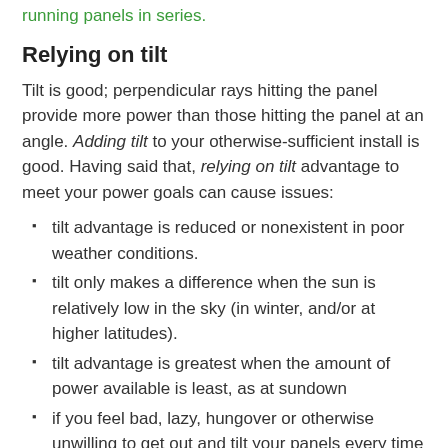running panels in series.
Relying on tilt
Tilt is good; perpendicular rays hitting the panel provide more power than those hitting the panel at an angle. Adding tilt to your otherwise-sufficient install is good. Having said that, relying on tilt advantage to meet your power goals can cause issues:
tilt advantage is reduced or nonexistent in poor weather conditions.
tilt only makes a difference when the sun is relatively low in the sky (in winter, and/or at higher latitudes).
tilt advantage is greatest when the amount of power available is least, as at sundown
if you feel bad, lazy, hungover or otherwise unwilling to get out and tilt your panels every time you will not meet your basic needs
tilting is usually set up in one direction, dictating the